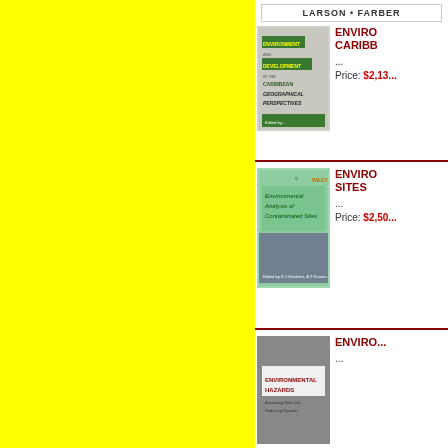[Figure (illustration): Yellow panel on left half of page]
LARSON • FARBER
[Figure (illustration): Book cover: Environment and Development in the Caribbean Geographical Perspectives]
ENVIRONMENT AND CARIBBEAN...
...
Price: $2,13...
[Figure (illustration): Book cover: Environmental Analysis of Contaminated Sites (Wiley)]
ENVIRONMENTAL ANALYSIS OF CONTAMINATED SITES...
...
Price: $2,50...
[Figure (illustration): Book cover: Environmental Hazards]
ENVIRONMENTAL HAZARDS...
...